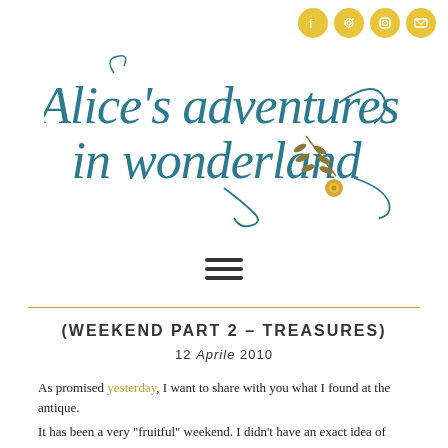[Figure (logo): Social media icons (Facebook, Pinterest, Instagram, Email) as yellow circles in top right corner]
[Figure (logo): Alice's adventures in wonderland - decorative calligraphy script logo with teal/blue lettering and floral botanical illustration in gold/olive]
[Figure (other): Hamburger menu icon with three horizontal lines]
(WEEKEND PART 2 – TREASURES)
12 Aprile 2010
As promised yesterday, I want to share with you what I found at the antique.
It has been a very "fruitful" weekend. I didn't have an exact idea of